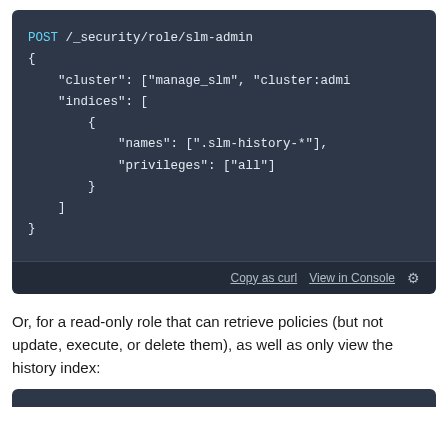[Figure (screenshot): Code block showing a POST request to /_security/role/slm-admin with JSON body containing cluster and indices fields, with Copy as curl and View in Console buttons at the bottom]
Or, for a read-only role that can retrieve policies (but not update, execute, or delete them), as well as only view the history index: